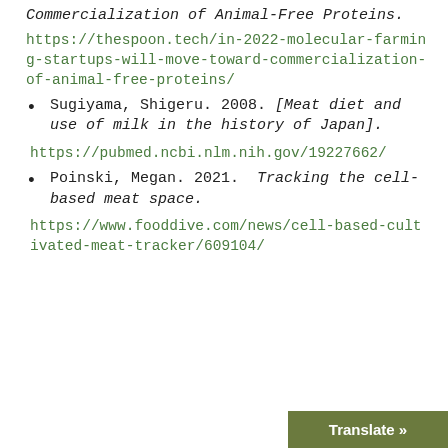Commercialization of Animal-Free Proteins. https://thespoon.tech/in-2022-molecular-farming-startups-will-move-toward-commercialization-of-animal-free-proteins/
Sugiyama, Shigeru. 2008. [Meat diet and use of milk in the history of Japan].
https://pubmed.ncbi.nlm.nih.gov/19227662/
Poinski, Megan. 2021. Tracking the cell-based meat space.
https://www.fooddive.com/news/cell-based-cultivated-meat-tracker/609104/
Translate »